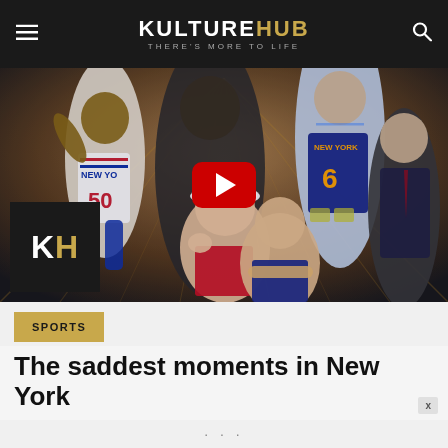KULTUREHUB — THERE'S MORE TO LIFE
[Figure (photo): Collage of New York Knicks players and fans including player #50, player #6, and disappointed fans, with YouTube play button overlay and KH logo]
SPORTS
The saddest moments in New York